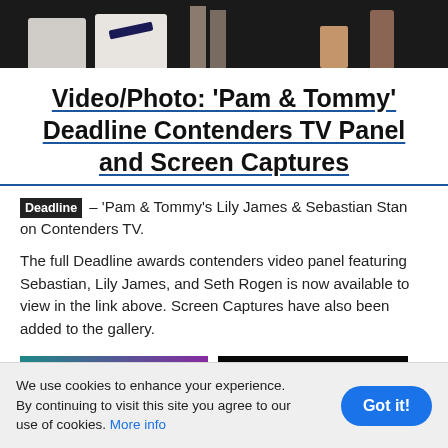[Figure (photo): Dark background photo strip showing feet and shoes of people at what appears to be a fashion event or red carpet]
Video/Photo: ‘Pam & Tommy’ Deadline Contenders TV Panel and Screen Captures
Deadline – ‘Pam & Tommy’s Lily James & Sebastian Stan on Contenders TV.
The full Deadline awards contenders video panel featuring Sebastian, Lily James, and Seth Rogen is now available to view in the link above. Screen Captures have also been added to the gallery.
[Figure (screenshot): Two thumbnail images side by side: left thumbnail shows a gradient from teal to purple with a light green stripe at bottom; right thumbnail shows a dark/black image]
We use cookies to enhance your experience. By continuing to visit this site you agree to our use of cookies. More info